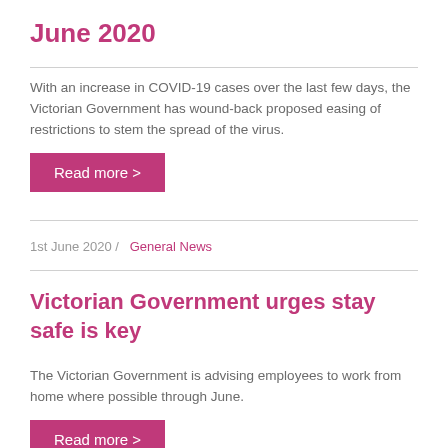June 2020
With an increase in COVID-19 cases over the last few days, the Victorian Government has wound-back proposed easing of restrictions to stem the spread of the virus.
Read more >
1st June 2020 /   General News
Victorian Government urges stay safe is key
The Victorian Government is advising employees to work from home where possible through June.
Read more >